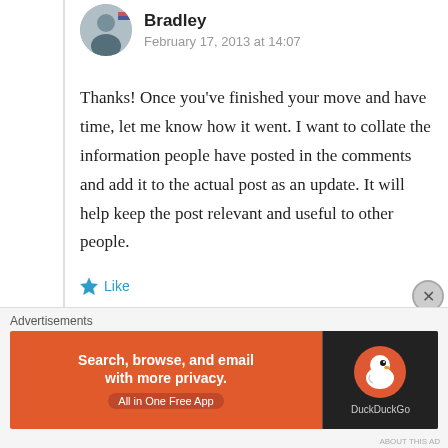Bradley
February 17, 2013 at 14:07
Thanks! Once you’ve finished your move and have time, let me know how it went. I want to collate the information people have posted in the comments and add it to the actual post as an update. It will help keep the post relevant and useful to other people.
Like
Reply
Advertisements
[Figure (screenshot): DuckDuckGo advertisement banner: orange background with text 'Search, browse, and email with more privacy. All in One Free App' on the left, and DuckDuckGo duck logo on black background on the right.]